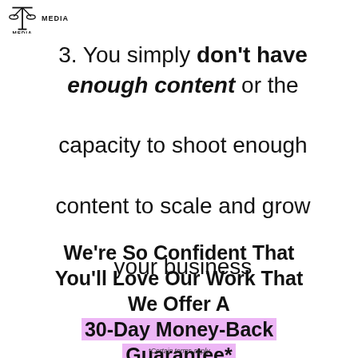[Figure (logo): Balance scale icon with 'MEDIA' text below, representing a media company logo]
3. You simply don't have enough content or the capacity to shoot enough content to scale and grow your business
We're So Confident That You'll Love Our Work That We Offer A 30-Day Money-Back Guarantee*
*Certain terms apply